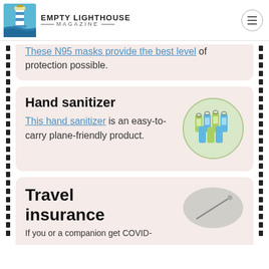EMPTY LIGHTHOUSE MAGAZINE
These N95 masks provide the best level of protection possible.
Hand sanitizer
This hand sanitizer is an easy-to-carry plane-friendly product.
[Figure (photo): Circular image of small hand sanitizer bottles with clips]
Travel insurance
If you or a companion get COVID-
[Figure (photo): Oval image related to travel insurance]